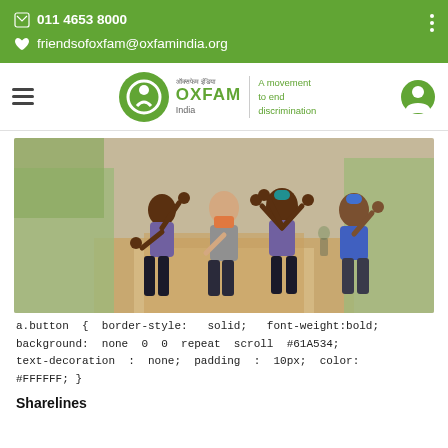011 4653 8000
friendsofoxfam@oxfamindia.org
[Figure (logo): Oxfam India logo with circular green emblem, Hindi text, OXFAM India text, vertical divider, and tagline 'A movement to end discrimination']
[Figure (photo): Four people walking on a dirt path with arms raised in celebration, wearing purple and blue t-shirts, outdoors with trees in background]
a.button { border-style: solid; font-weight:bold; background: none 0 0 repeat scroll #61A534; text-decoration : none; padding : 10px; color: #FFFFFF; }
Sharelines